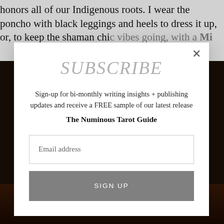honors all of our Indigenous roots. I wear the poncho with black leggings and heels to dress it up, or, to keep the shaman chic vibes going, with a ...
SUBSCRIBE
Sign-up for bi-monthly writing insights + publishing updates and receive a FREE sample of our latest release
The Numinous Tarot Guide
Email address
SIGN UP